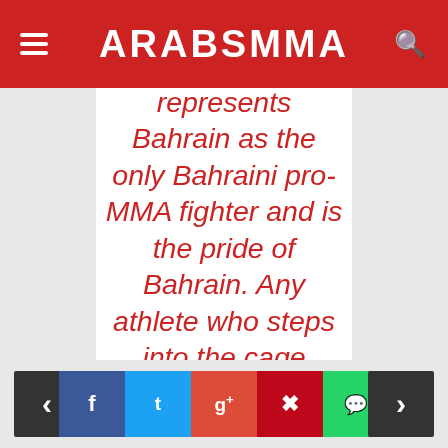ARABSMMA
represents Bahrain as the only Bahraini pro-MMA fighter and is the pride of Bahrain. Any athlete who steps into the cage deserves respect. This fight will be decided by who wants the victory more than the other. I will leave no stone unturned and will unleash the best ever version of me against